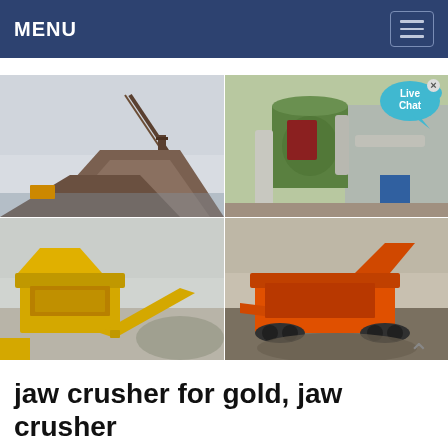MENU
[Figure (photo): Four-panel image grid showing mining and crushing equipment: top-left shows a conveyor belt and ore pile at a mining site; top-right shows green industrial grinding mill machinery with pipes; bottom-left shows yellow jaw crusher equipment in operation at a quarry; bottom-right shows an orange mobile crusher machine on gravel. A 'Live Chat' speech bubble overlay appears on the top-right image.]
jaw crusher for gold, jaw crusher